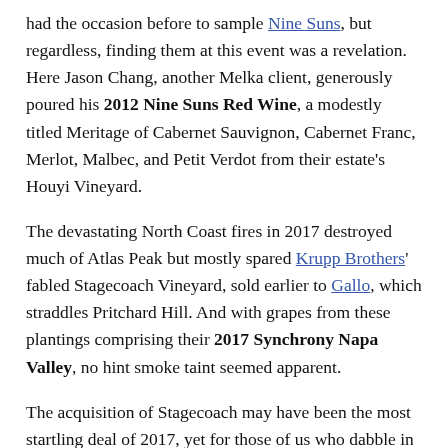had the occasion before to sample Nine Suns, but regardless, finding them at this event was a revelation. Here Jason Chang, another Melka client, generously poured his 2012 Nine Suns Red Wine, a modestly titled Meritage of Cabernet Sauvignon, Cabernet Franc, Merlot, Malbec, and Petit Verdot from their estate's Houyi Vineyard.
The devastating North Coast fires in 2017 destroyed much of Atlas Peak but mostly spared Krupp Brothers' fabled Stagecoach Vineyard, sold earlier to Gallo, which straddles Pritchard Hill. And with grapes from these plantings comprising their 2017 Synchrony Napa Valley, no hint smoke taint seemed apparent.
The acquisition of Stagecoach may have been the most startling deal of 2017, yet for those of us who dabble in winery M&A, the sale of Robert Mondavi to Constellation 15